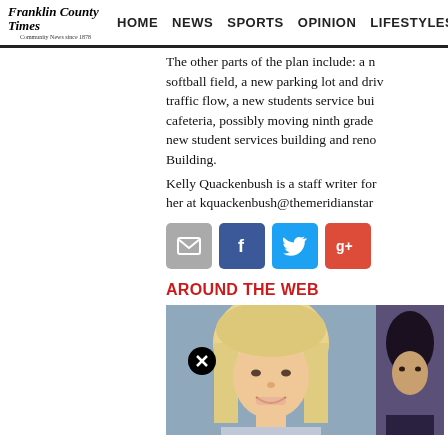Franklin County Times | HOME | NEWS | SPORTS | OPINION | LIFESTYLES
The other parts of the plan include: a new softball field, a new parking lot and drive for traffic flow, a new students service building, cafeteria, possibly moving ninth grade to the new student services building and renovating Building.
Kelly Quackenbush is a staff writer for her at kquackenbush@themeridianstar...
[Figure (infographic): Social share buttons: email (gray), Facebook (blue), Twitter (light blue), Google+ (red)]
AROUND THE WEB
[Figure (photo): Portrait photo of a woman with long blonde hair, smiling, with a close/X button overlay in the lower left area of the image]